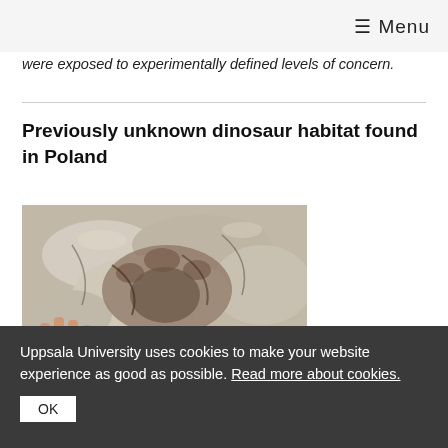≡ Menu
were exposed to experimentally defined levels of concern.
Previously unknown dinosaur habitat found in Poland
[Figure (photo): A dinosaur footprint in rock, approximately 199 million years old, with a human hand visible for scale. The footprint shows three-toed impression of a bipedal predatory dinosaur in grey/brown rock.]
This footprint of a bipedal predatory dinosaur, 199 million years old, is so
Uppsala University uses cookies to make your website experience as good as possible. Read more about cookies.